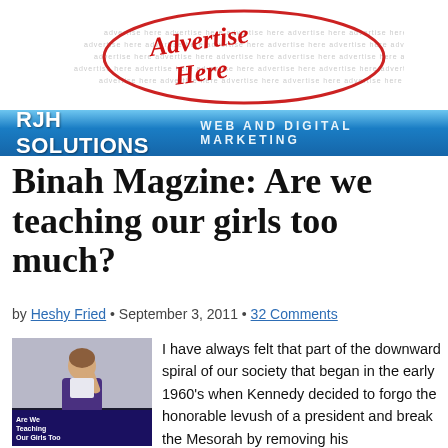[Figure (illustration): Advertise Here logo/banner image with red script text 'Advertise Here' and repeated 'advertise here' text pattern]
[Figure (logo): RJH Solutions banner with blue gradient background, white bold text 'RJH SOLUTIONS' and subtitle 'WEB AND DIGITAL MARKETING']
Binah Magzine: Are we teaching our girls too much?
by Heshy Fried • September 3, 2011 • 32 Comments
[Figure (photo): Magazine cover showing a young girl with text 'Are We Teaching Our Girls Too Much? Major mechanche debate']
I have always felt that part of the downward spiral of our society that began in the early 1960's when Kennedy decided to forgo the honorable levush of a president and break the Mesorah by removing his